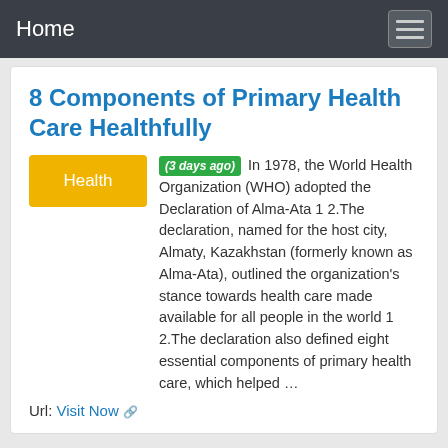Home
8 Components of Primary Health Care Healthfully
(3 days ago) In 1978, the World Health Organization (WHO) adopted the Declaration of Alma-Ata 1 2.The declaration, named for the host city, Almaty, Kazakhstan (formerly known as Alma-Ata), outlined the organization's stance towards health care made available for all people in the world 1 2.The declaration also defined eight essential components of primary health care, which helped …
Url: Visit Now